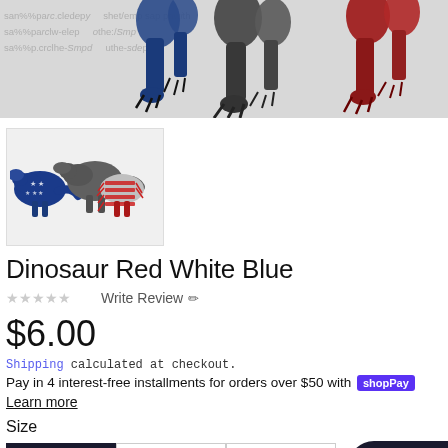[Figure (photo): Top banner showing dinosaur legs/feet in blue, black/gray, and red colorways with watermark text overlay]
[Figure (photo): Product thumbnail showing patriotic red white blue dinosaur T-rex figures]
Dinosaur Red White Blue
☆☆☆☆☆ Write Review ✏
$6.00
Shipping calculated at checkout.
Pay in 4 interest-free installments for orders over $50 with shopPay
Learn more
Size
8.5x11   11x17   11x19
Style